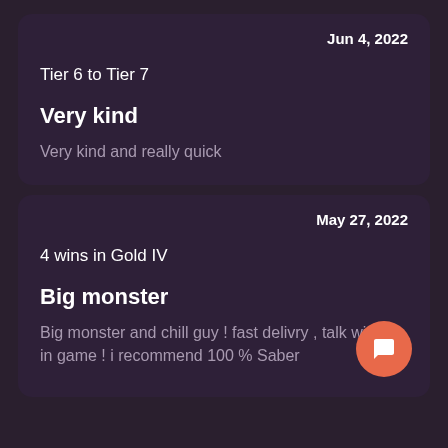Jun 4, 2022
Tier 6 to Tier 7
Very kind
Very kind and really quick
May 27, 2022
4 wins in Gold IV
Big monster
Big monster and chill guy ! fast delivry , talk with in game ! i recommend 100 % Saber
[Figure (illustration): Orange circular chat/message FAB button with white chat icon]